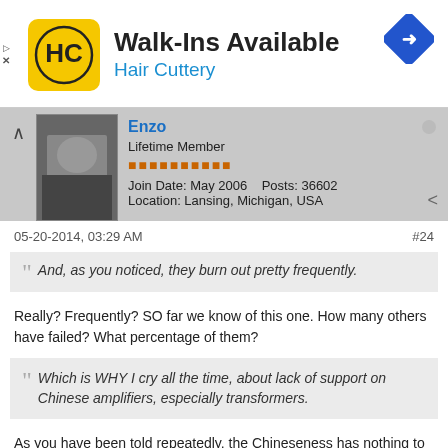[Figure (logo): Hair Cuttery advertisement banner with logo, 'Walk-Ins Available' heading, and a navigation arrow icon]
Enzo
Lifetime Member
Join Date: May 2006    Posts: 36602
Location: Lansing, Michigan, USA
05-20-2014, 03:29 AM    #24
And, as you noticed, they burn out pretty frequently.
Really? Frequently? SO far we know of this one. How many others have failed? What percentage of them?
Which is WHY I cry all the time, about lack of support on Chinese amplifiers, especially transformers.
As you have been told repeatedly, the Chineseness has nothing to do with support level.